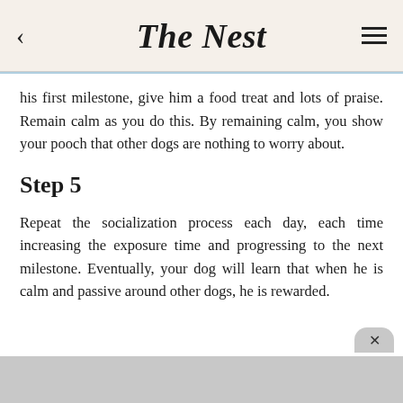The Nest
his first milestone, give him a food treat and lots of praise. Remain calm as you do this. By remaining calm, you show your pooch that other dogs are nothing to worry about.
Step 5
Repeat the socialization process each day, each time increasing the exposure time and progressing to the next milestone. Eventually, your dog will learn that when he is calm and passive around other dogs, he is rewarded.